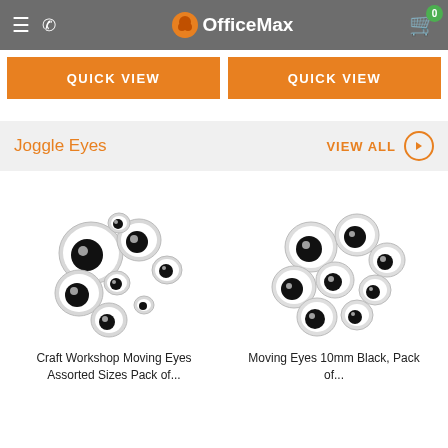OfficeMax
QUICK VIEW
QUICK VIEW
Joggle Eyes
VIEW ALL
[Figure (photo): Craft Workshop Moving Eyes Assorted Sizes, Pack of multiple googly eyes]
[Figure (photo): Moving Eyes 10mm Black, Pack of multiple googly eyes]
Craft Workshop Moving Eyes Assorted Sizes, Pack of...
Moving Eyes 10mm Black, Pack of...